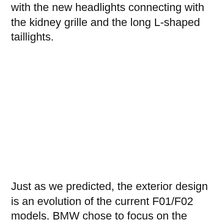with the new headlights connecting with the kidney grille and the long L-shaped taillights.
Just as we predicted, the exterior design is an evolution of the current F01/F02 models. BMW chose to focus on the driving experience, weight reduction and high-tech inside and outside the